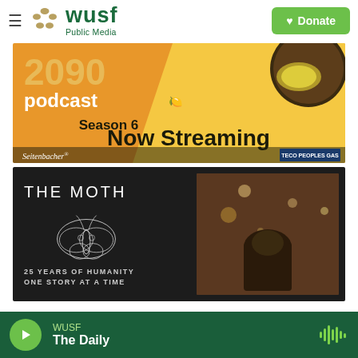WUSF Public Media — Donate
[Figure (screenshot): Podcast advertisement banner: orange and yellow background with text '2090 podcast Season 6 Now Streaming', Seitenbacher and TECO Peoples Gas logos at bottom, lemon/citrus imagery in upper right]
[Figure (screenshot): The Moth podcast advertisement: dark background with moth illustration, text 'THE MOTH 25 YEARS OF HUMANITY ONE STORY AT A TIME', and a photo of a person from behind with bokeh lights]
WUSF — The Daily (audio player bar)